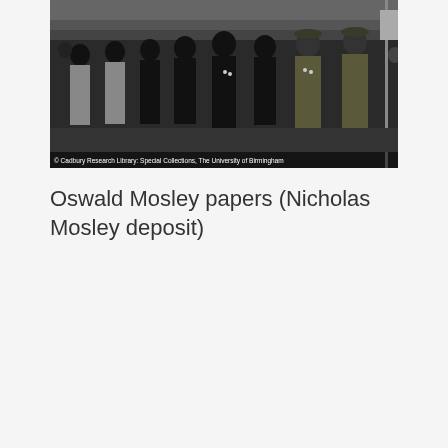[Figure (photo): Black and white photograph of a group of men in dark uniforms (Blackshirts) standing in a line, with some uniformed officers visible on the right. A watermark reads: © Cadbury Research Library: Special Collections, The University of Birmingham]
© Cadbury Research Library: Special Collections, The University of Birmingham
Oswald Mosley papers (Nicholas Mosley deposit)